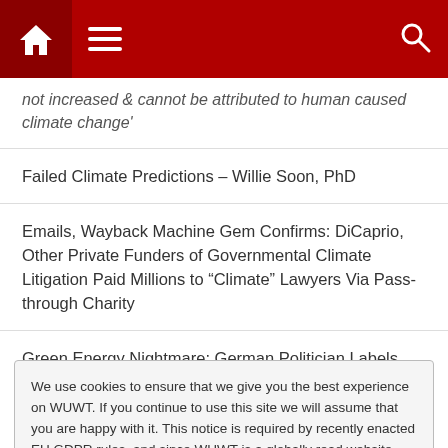WUWT navigation bar with home, menu, and search icons
not increased & cannot be attributed to human caused climate change'
Failed Climate Predictions – Willie Soon, PhD
Emails, Wayback Machine Gem Confirms: DiCaprio, Other Private Funders of Governmental Climate Litigation Paid Millions to “Climate” Lawyers Via Pass-through Charity
Green Energy Nightmare: German Politician Labels Poor
We use cookies to ensure that we give you the best experience on WUWT. If you continue to use this site we will assume that you are happy with it. This notice is required by recently enacted EU GDPR rules, and since WUWT is a globally read website, we need to keep the bureaucrats off our case! Cookie Policy
Archives